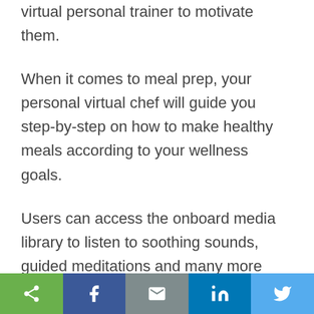virtual personal trainer to motivate them.
When it comes to meal prep, your personal virtual chef will guide you step-by-step on how to make healthy meals according to your wellness goals.
Users can access the onboard media library to listen to soothing sounds, guided meditations and many more wellness-related tools.
[Figure (other): Social sharing toolbar with five buttons: share (green), Facebook (dark blue), email/mail (grey), LinkedIn (blue), Twitter (light blue)]